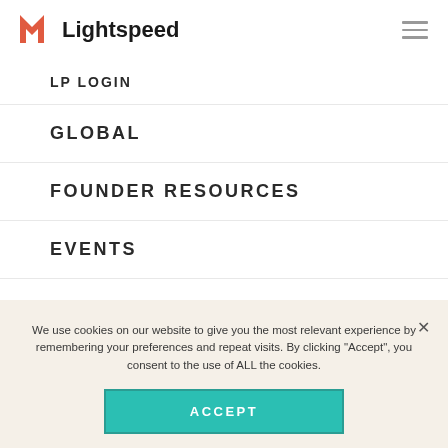[Figure (logo): Lightspeed Venture Partners logo with orange/red triangular arrow shape and bold 'Lightspeed' wordmark]
LP LOGIN
GLOBAL
FOUNDER RESOURCES
EVENTS
PRESS KIT
We use cookies on our website to give you the most relevant experience by remembering your preferences and repeat visits. By clicking "Accept", you consent to the use of ALL the cookies.
ACCEPT